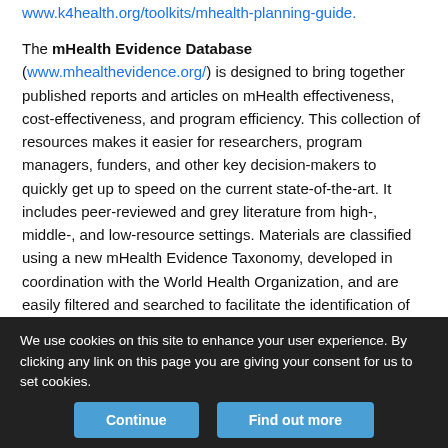www.k4health.org/toolkits/mhealth-planning-guide.
The mHealth Evidence Database (www.mhealthevidence.org/) is designed to bring together published reports and articles on mHealth effectiveness, cost-effectiveness, and program efficiency. This collection of resources makes it easier for researchers, program managers, funders, and other key decision-makers to quickly get up to speed on the current state-of-the-art. It includes peer-reviewed and grey literature from high-, middle-, and low-resource settings. Materials are classified using a new mHealth Evidence Taxonomy, developed in coordination with the World Health Organization, and are easily filtered and searched to facilitate the identification of evidence-based, high-impact mHealth practices.
We use cookies on this site to enhance your user experience. By clicking any link on this page you are giving your consent for us to set cookies.
Continue
Find out more